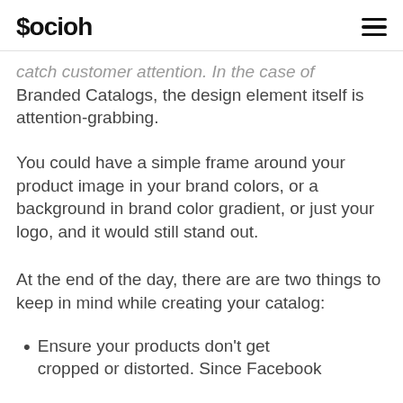$ocioh
catch customer attention. In the case of Branded Catalogs, the design element itself is attention-grabbing.
You could have a simple frame around your product image in your brand colors, or a background in brand color gradient, or just your logo, and it would still stand out.
At the end of the day, there are are two things to keep in mind while creating your catalog:
Ensure your products don't get cropped or distorted. Since Facebook